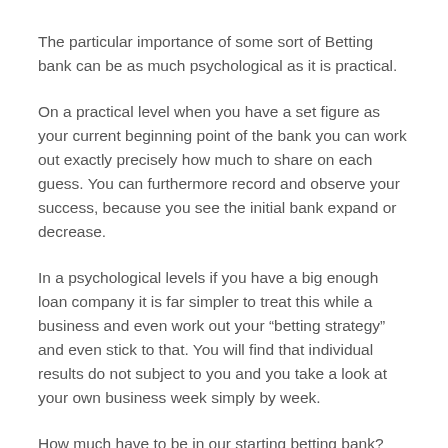The particular importance of some sort of Betting bank can be as much psychological as it is practical.
On a practical level when you have a set figure as your current beginning point of the bank you can work out exactly precisely how much to share on each guess. You can furthermore record and observe your success, because you see the initial bank expand or decrease.
In a psychological levels if you have a big enough loan company it is far simpler to treat this while a business and even work out your “betting strategy” and even stick to that. You will find that individual results do not subject to you and you take a look at your own business week simply by week.
How much have to be in our starting betting bank?